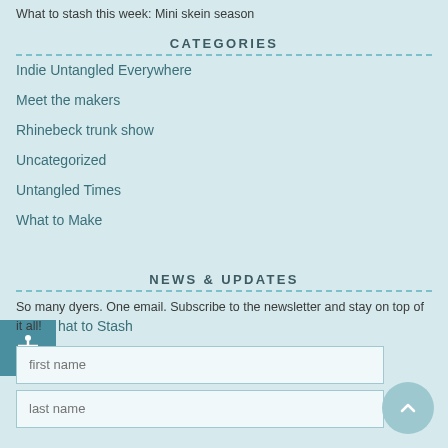What to stash this week: Mini skein season
CATEGORIES
Indie Untangled Everywhere
Meet the makers
Rhinebeck trunk show
Uncategorized
Untangled Times
What to Make
What to Stash
NEWS & UPDATES
So many dyers. One email. Subscribe to the newsletter and stay on top of it all!